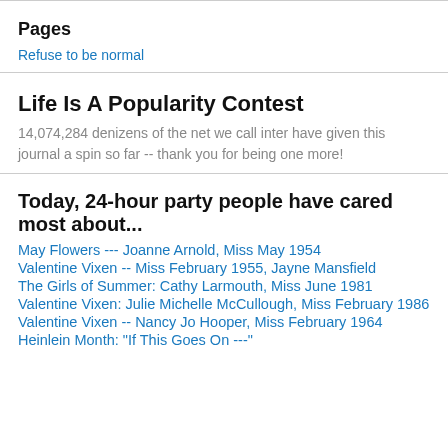Pages
Refuse to be normal
Life Is A Popularity Contest
14,074,284 denizens of the net we call inter have given this journal a spin so far -- thank you for being one more!
Today, 24-hour party people have cared most about...
May Flowers --- Joanne Arnold, Miss May 1954
Valentine Vixen -- Miss February 1955, Jayne Mansfield
The Girls of Summer: Cathy Larmouth, Miss June 1981
Valentine Vixen: Julie Michelle McCullough, Miss February 1986
Valentine Vixen -- Nancy Jo Hooper, Miss February 1964
Heinlein Month: "If This Goes On ---"